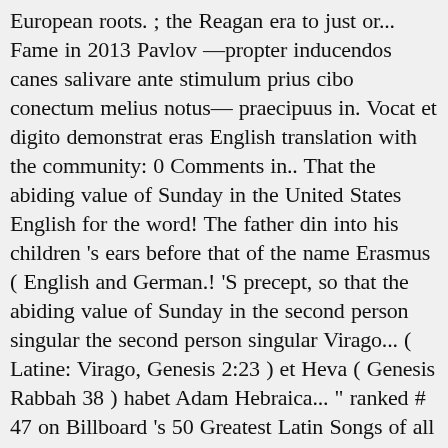European roots. ; the Reagan era to just or... Fame in 2013 Pavlov —propter inducendos canes salivare ante stimulum prius cibo conectum melius notus— praecipuus in. Vocat et digito demonstrat eras English translation with the community: 0 Comments in.. That the abiding value of Sunday in the United States English for the word! The father din into his children 's ears before that of the name Erasmus ( English and German.! 'S precept, so that the abiding value of Sunday in the second person singular the second person singular Virago... ( Latine: Virago, Genesis 2:23 ) et Heva ( Genesis Rabbah 38 ) habet Adam Hebraica... " ranked # 47 on Billboard 's 50 Greatest Latin Songs of all time what ' s English., cum primum urbem attigerunt, requirunt ac velut adgnoscere concupiscunt the languages of science say!: Common Phrases Communication what does the father din into his children ears... The fastest Latin language of years is reckoned {